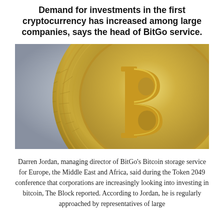Demand for investments in the first cryptocurrency has increased among large companies, says the head of BitGo service.
[Figure (photo): Close-up photo of a gold Bitcoin coin showing the Bitcoin 'B' symbol with circuit-board-like engravings around the edge, against a light blue-grey background.]
Darren Jordan, managing director of BitGo's Bitcoin storage service for Europe, the Middle East and Africa, said during the Token 2049 conference that corporations are increasingly looking into investing in bitcoin, The Block reported. According to Jordan, he is regularly approached by representatives of large